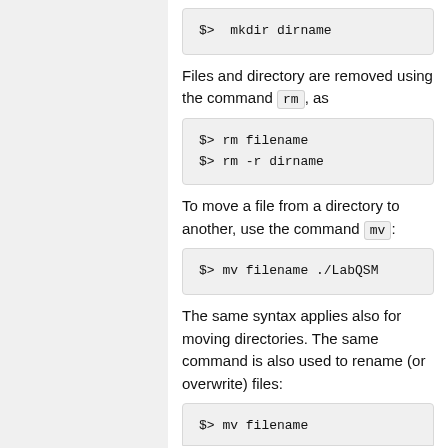$>  mkdir dirname
Files and directory are removed using the command rm, as
$> rm filename
$> rm -r dirname
To move a file from a directory to another, use the command mv:
$> mv filename ./LabQSM
The same syntax applies also for moving directories. The same command is also used to rename (or overwrite) files:
$> mv filename